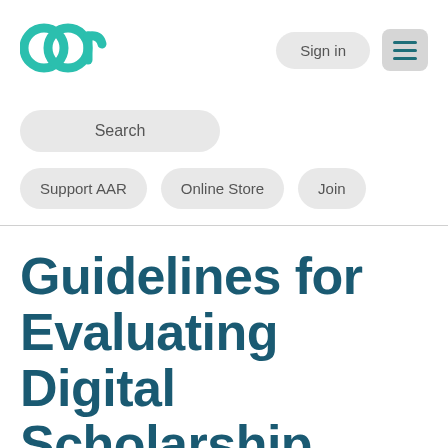[Figure (logo): AAR logo — two overlapping circular letterforms in teal/green]
Sign in
[Figure (other): Hamburger menu icon with three horizontal lines]
Search
Support AAR
Online Store
Join
Guidelines for Evaluating Digital Scholarship